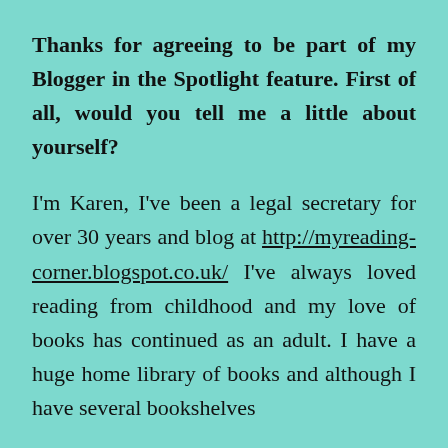Thanks for agreeing to be part of my Blogger in the Spotlight feature. First of all, would you tell me a little about yourself?
I'm Karen, I've been a legal secretary for over 30 years and blog at http://myreading-corner.blogspot.co.uk/ I've always loved reading from childhood and my love of books has continued as an adult. I have a huge home library of books and although I have several bookshelves